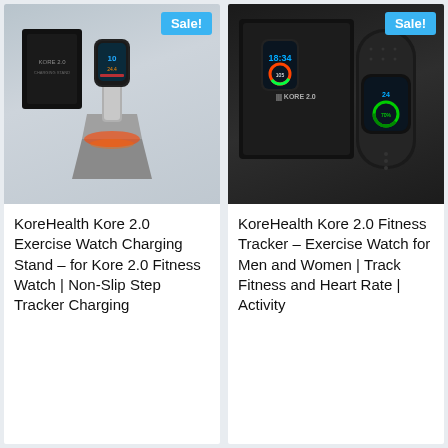[Figure (photo): KoreHealth Kore 2.0 Exercise Watch Charging Stand product photo showing smartwatch on a metallic charging dock with product box, Sale! badge in blue top right]
[Figure (photo): KoreHealth Kore 2.0 Fitness Tracker product photo showing fitness band and smartwatch display with Kore 2.0 branding on dark background, Sale! badge in blue top right]
KoreHealth Kore 2.0 Exercise Watch Charging Stand – for Kore 2.0 Fitness Watch | Non-Slip Step Tracker Charging
KoreHealth Kore 2.0 Fitness Tracker – Exercise Watch for Men and Women | Track Fitness and Heart Rate | Activity